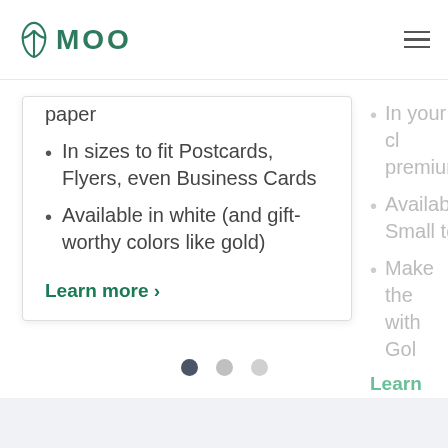MOO logo and navigation
paper
In sizes to fit Postcards, Flyers, even Business Cards
Available in white (and gift-worthy colors like gold)
Learn more >
In your cl premium
Available Small to
Make the with Gol
Learn mor
[Figure (infographic): Carousel navigation dots: three circles, first is dark (active), second and third are light grey (inactive)]